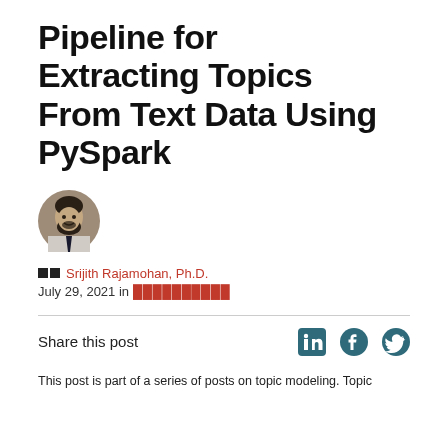Pipeline for Extracting Topics From Text Data Using PySpark
[Figure (photo): Circular avatar photo of Srijith Rajamohan Ph.D., a man with dark hair and beard wearing a suit]
🔲🔲 Srijith Rajamohan, Ph.D.
July 29, 2021 in [tag link]
Share this post
[Figure (logo): LinkedIn, Facebook, and Twitter social share icons]
This post is part of a series of posts on topic modeling. Topic